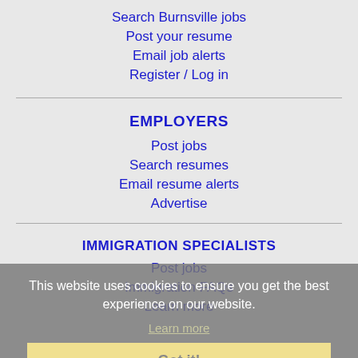Search Burnsville jobs
Post your resume
Email job alerts
Register / Log in
EMPLOYERS
Post jobs
Search resumes
Email resume alerts
Advertise
This website uses cookies to ensure you get the best experience on our website.
Learn more
Got it!
IMMIGRATION SPECIALISTS
Post jobs
Immigration FAQs
Learn more